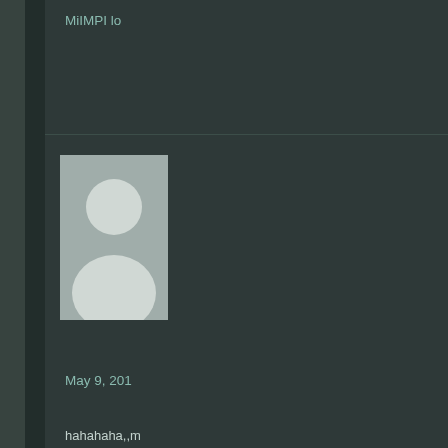MiIMPI lo
[Figure (illustration): User avatar placeholder - gray silhouette of a person on lighter gray background]
May 9, 201
hahahaha,,m
jadi free mu
manusia pa
ini!!!
berharap aja
[Figure (illustration): User avatar placeholder - gray silhouette of a person on lighter gray background]
May 9, 201